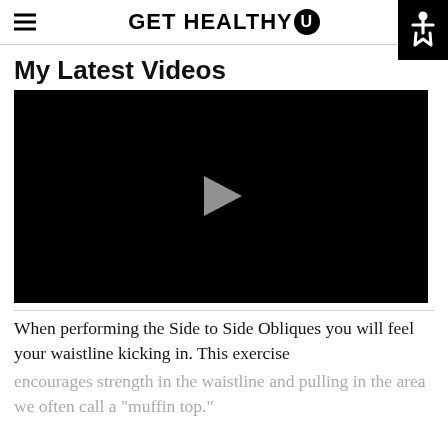GET HEALTHY U
My Latest Videos
[Figure (screenshot): Black video player with a gray play button triangle in the center]
When performing the Side to Side Obliques you will feel your waistline kicking in. This exercise encourages strength in the waistline and pulling in the area we often call a "muffin top."